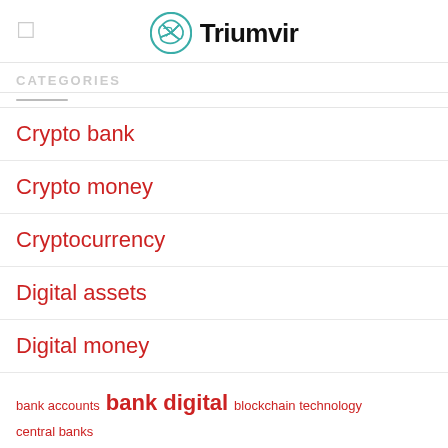Triumvir
CATEGORIES
Crypto bank
Crypto money
Cryptocurrency
Digital assets
Digital money
bank accounts  bank digital  blockchain technology  central banks  crypto assets  crypto bank  digital assets  digital currencies  digital currency  digital money  formal channels